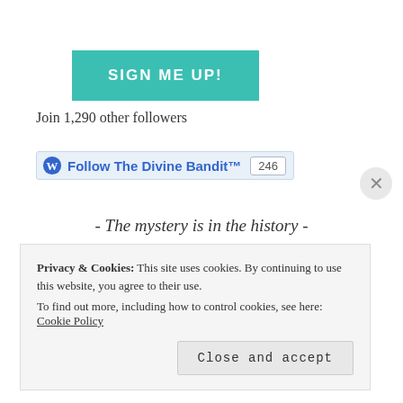[Figure (other): SIGN ME UP! button in teal/turquoise color]
Join 1,290 other followers
[Figure (other): WordPress Follow The Divine Bandit™ widget with count 246]
- The mystery is in the history -
[Figure (other): Select Month dropdown widget]
- Categories -
Privacy & Cookies: This site uses cookies. By continuing to use this website, you agree to their use.
To find out more, including how to control cookies, see here: Cookie Policy
[Figure (other): Close and accept button for cookie banner]